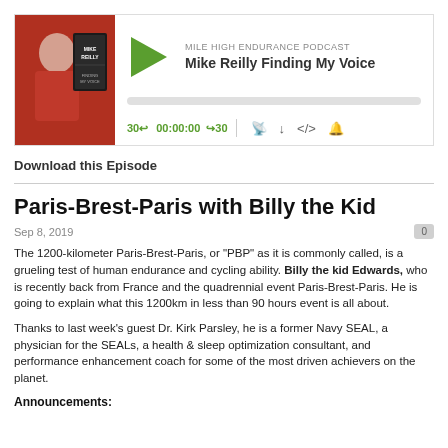[Figure (screenshot): Podcast audio player widget for Mile High Endurance Podcast episode 'Mike Reilly Finding My Voice'. Shows thumbnail image, play button (green triangle), podcast name and title, progress bar, and playback controls including 30-second back/forward buttons, time display (00:00:00), and icons for cast, download, embed, and subscription.]
Download this Episode
Paris-Brest-Paris with Billy the Kid
Sep 8, 2019
The 1200-kilometer Paris-Brest-Paris, or "PBP" as it is commonly called, is a grueling test of human endurance and cycling ability. Billy the kid Edwards, who is recently back from France and the quadrennial event Paris-Brest-Paris. He is going to explain what this 1200km in less than 90 hours event is all about.
Thanks to last week's guest Dr. Kirk Parsley, he is a former Navy SEAL, a physician for the SEALs, a health & sleep optimization consultant, and performance enhancement coach for some of the most driven achievers on the planet.
Announcements: